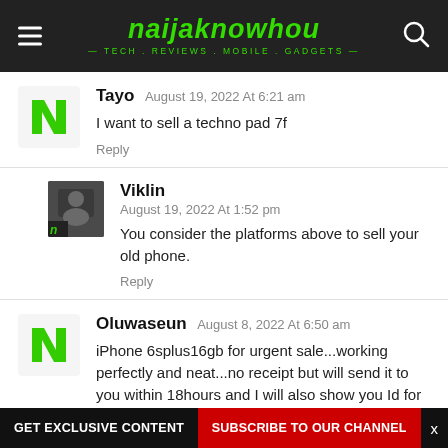naijaknowhou — TECH . REVIEWS . MOBILE . GADGETS
Tayo August 19, 2022 At 6:21 am
I want to sell a techno pad 7f
Reply
Viklin August 19, 2022 At 1:52 pm
You consider the platforms above to sell your old phone.
Reply
Oluwaseun August 8, 2022 At 6:50 am
iPhone 6splus16gb for urgent sale...working perfectly and neat...no receipt but will send it to you within 18hours and I will also show you Id for proof and my...
GET EXCLUSIVE CONTENT  SUBSCRIBE TO OUR CHANNEL  x